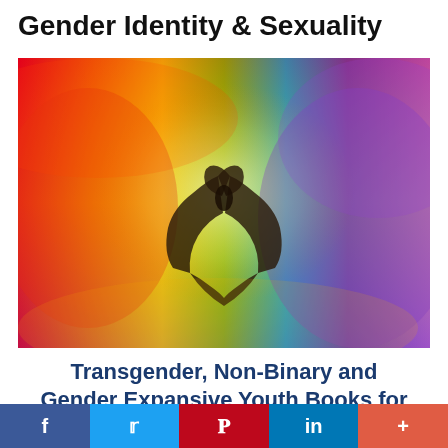Gender Identity & Sexuality
[Figure (photo): Hands forming a heart shape against a rainbow-colored background with red, orange, yellow, green, blue, and purple gradient colors representing LGBT pride.]
Transgender, Non-Binary and Gender Expansive Youth Books for Middle and High School Students
f  Twitter  Pinterest  in  +